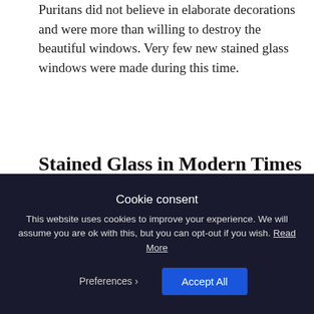Puritans did not believe in elaborate decorations and were more than willing to destroy the beautiful windows. Very few new stained glass windows were made during this time.
Stained Glass in Modern Times
Moving onto the 19th century, the was a revival of the Gothic style and along with it a renewed interest in stained glass. As with all evolving
Cookie consent
This website uses cookies to improve your experience. We will assume you are ok with this, but you can opt-out if you wish. Read More
Preferences  Accept All